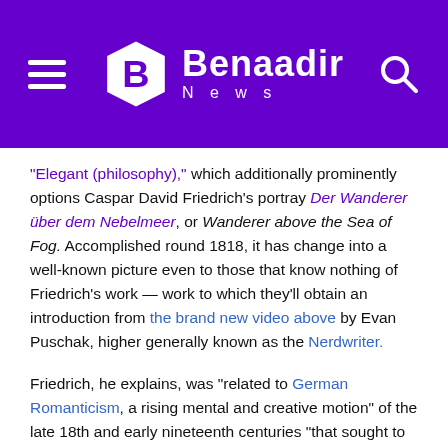Benaadir News
“Elegant (philosophy),” which additionally prominently options Caspar David Friedrich’s portray Der Wanderer über dem Nebelmeer, or Wanderer above the Sea of Fog. Accomplished round 1818, it has change into a well-known picture even to those that know nothing of Friedrich’s work — work to which they’ll obtain an introduction from the brand new video above by Evan Puschak, higher generally known as the Nerdwriter.
Friedrich, he explains, was “related to German Romanticism, a rising mental and creative motion” of the late 18th and early nineteenth centuries “that sought to reconnect humanity with feeling and spirituality” after the Enlightenment so destabilized humanity’s Weltanschauung.
Friedrich’s landscapes, realistically painted if not essentially devoted to actual locations, “symbolize the head of this motion.”